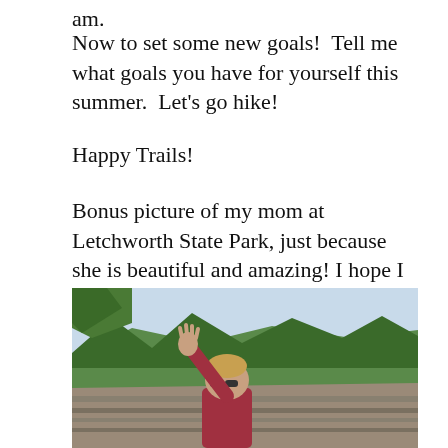am.
Now to set some new goals!  Tell me what goals you have for yourself this summer.  Let’s go hike!
Happy Trails!
Bonus picture of my mom at Letchworth State Park, just because she is beautiful and amazing! I hope I grow up to be just like her!
[Figure (photo): A woman with sunglasses and a red jacket raising her hand outdoors at Letchworth State Park, with forested cliffs and blue sky in the background.]